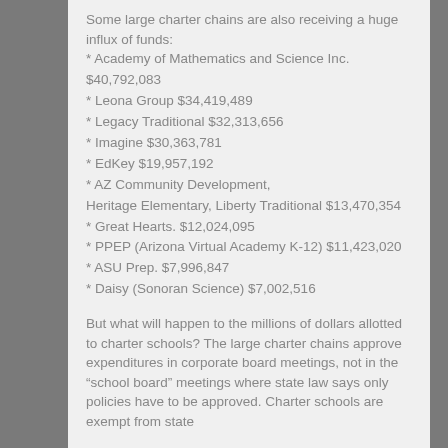Some large charter chains are also receiving a huge influx of funds:
* Academy of Mathematics and Science Inc. $40,792,083
* Leona Group $34,419,489
* Legacy Traditional $32,313,656
* Imagine $30,363,781
* EdKey $19,957,192
* AZ Community Development, Heritage Elementary, Liberty Traditional $13,470,354
* Great Hearts. $12,024,095
* PPEP (Arizona Virtual Academy K-12) $11,423,020
* ASU Prep. $7,996,847
* Daisy (Sonoran Science) $7,002,516
But what will happen to the millions of dollars allotted to charter schools? The large charter chains approve expenditures in corporate board meetings, not in the “school board” meetings where state law says only policies have to be approved. Charter schools are exempt from state